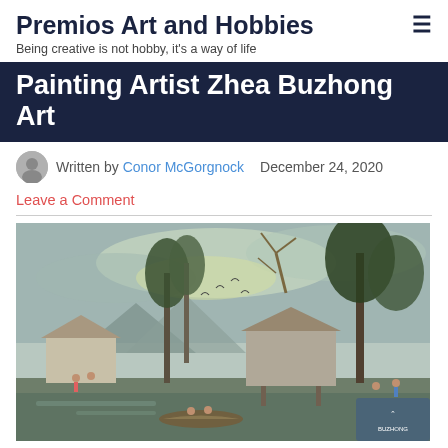Premios Art and Hobbies — Being creative is not hobby, it's a way of life
Painting Artist Zhea Buzhong Art
Written by Conor McGorgnock  December 24, 2020
Leave a Comment
[Figure (illustration): Watercolor painting of a Southeast Asian riverside village scene with wooden stilt houses, tall palm trees, mountains in the background, people in a boat, and figures on the shore under a dramatic cloudy sky.]